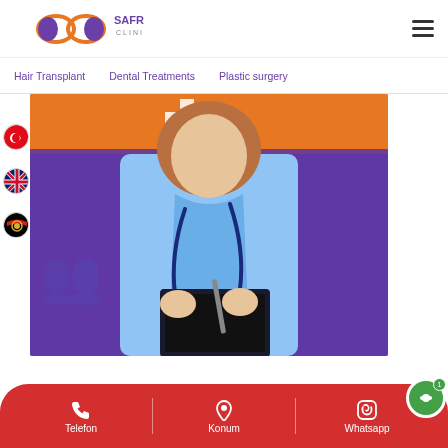[Figure (logo): Safran Clinic logo with infinity symbol and purple/orange silhouettes]
[Figure (other): Hamburger menu icon (three horizontal lines)]
Hair Transplant
Dental Treatments
Plastic surgery
[Figure (photo): Female nurse/doctor in blue scrubs with stethoscope, holding a clipboard and pen, orange and purple background]
[Figure (other): Turkish flag circle icon]
[Figure (other): UK flag circle icon]
[Figure (other): Afghanistan flag circle icon]
Telefon
Konum
Whatsapp